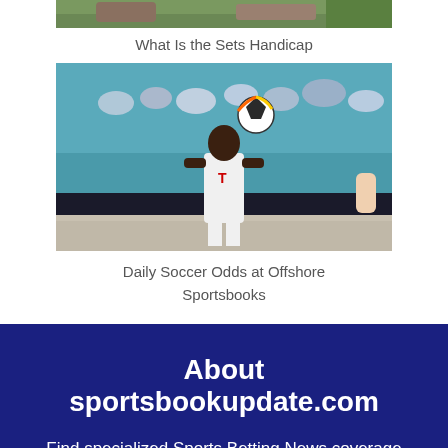[Figure (photo): Partial top image showing greenery/logs background - cropped at top]
What Is the Sets Handicap
[Figure (photo): Soccer player in white Bayern Munich kit heading a colorful ball, crowd in background, outdoor stadium]
Daily Soccer Odds at Offshore Sportsbooks
About sportsbookupdate.com
Find specialized Sports Betting News coverage regarding, handicapping, sports picks, sportsbook and much more sports betting information.